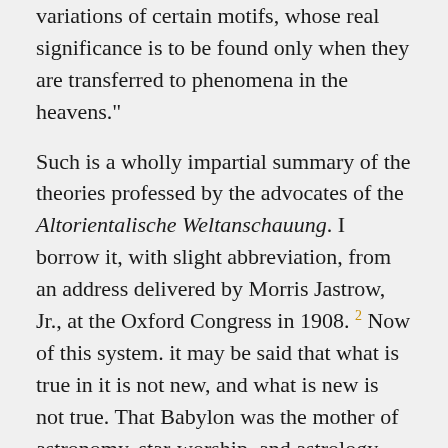variations of certain motifs, whose real significance is to be found only when they are transferred to phenomena in the heavens."
Such is a wholly impartial summary of the theories professed by the advocates of the Altorientalische Weltanschauung. I borrow it, with slight abbreviation, from an address delivered by Morris Jastrow, Jr., at the Oxford Congress in 1908. 2 Now of this system. it may be said that what is true in it is not new, and what is new is not true. That Babylon was the mother of astronomy, star-worship, and astrology, that thence these sciences and these beliefs spread over the world, is a fact already told us by the ancients, and the course of these lectures will prove it clearly. But the mistake of the Pan-Babylonists, whose wide generalisations rest on the narrowest and flimsiest of bases, lies in the fact that they have transferred to the nebulous origins of history conceptions which were not developed at